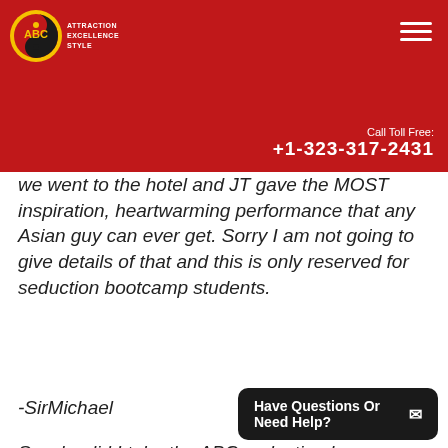ABC Seduction Style — Call Toll Free: +1-323-317-2431
We went to the hotel and JT gave the MOST inspiration, heartwarming performance that any Asian guy can ever get. Sorry I am not going to give details of that and this is only reserved for seduction bootcamp students.
-SirMichael
So why did I take the ABC seduction boo... of it...